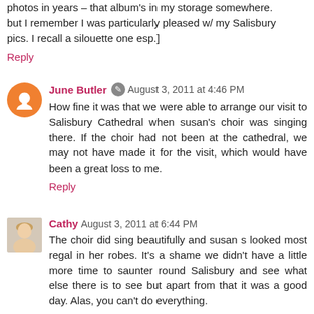photos in years – that album's in my storage somewhere. but I remember I was particularly pleased w/ my Salisbury pics. I recall a silouette one esp.]
Reply
June Butler  ✎  August 3, 2011 at 4:46 PM
How fine it was that we were able to arrange our visit to Salisbury Cathedral when susan's choir was singing there. If the choir had not been at the cathedral, we may not have made it for the visit, which would have been a great loss to me.
Reply
Cathy  August 3, 2011 at 6:44 PM
The choir did sing beautifully and susan s looked most regal in her robes. It's a shame we didn't have a little more time to saunter round Salisbury and see what else there is to see but apart from that it was a good day. Alas, you can't do everything.